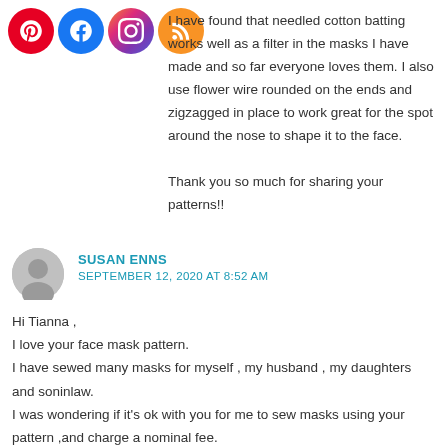[Figure (logo): Social media icons: Pinterest, Facebook, Instagram, RSS feed]
I have found that needled cotton batting works well as a filter in the masks I have made and so far everyone loves them. I also use flower wire rounded on the ends and zigzagged in place to work great for the spot around the nose to shape it to the face. Thank you so much for sharing your patterns!!
SUSAN ENNS
SEPTEMBER 12, 2020 AT 8:52 AM
Hi Tianna ,
I love your face mask pattern.
I have sewed many masks for myself , my husband , my daughters and soninlaw.
I was wondering if it's ok with you for me to sew masks using your pattern ,and charge a nominal fee.